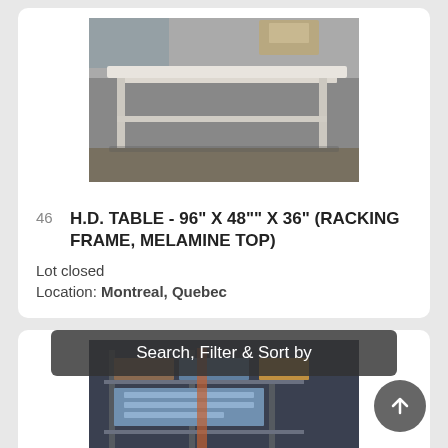[Figure (photo): White heavy duty table with racking frame and melamine top, photographed in a warehouse]
46  H.D. TABLE - 96" X 48"" X 36" (RACKING FRAME, MELAMINE TOP)
Lot closed
Location: Montreal, Quebec
[Figure (photo): Warehouse shelving and racking equipment, partially obscured by Search/Filter overlay]
Search, Filter & Sort by